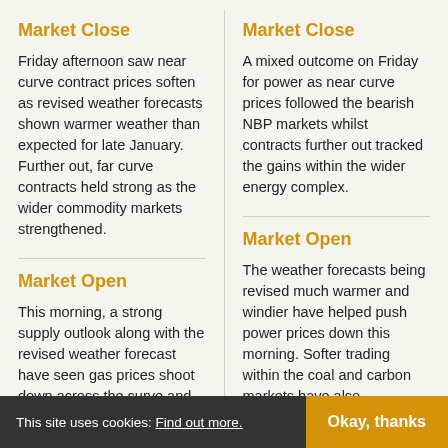Market Close
Friday afternoon saw near curve contract prices soften as revised weather forecasts shown warmer weather than expected for late January. Further out, far curve contracts held strong as the wider commodity markets strengthened.
Market Close
A mixed outcome on Friday for power as near curve prices followed the bearish NBP markets whilst contracts further out tracked the gains within the wider energy complex.
Market Open
This morning, a strong supply outlook along with the revised weather forecast have seen gas prices shoot down across the curve and down almost 3p/th on the respective February contracts.
Market Open
The weather forecasts being revised much warmer and windier have helped push power prices down this morning. Softer trading within the coal and carbon markets have also helped weigh down on the day.
This site uses cookies: Find out more.